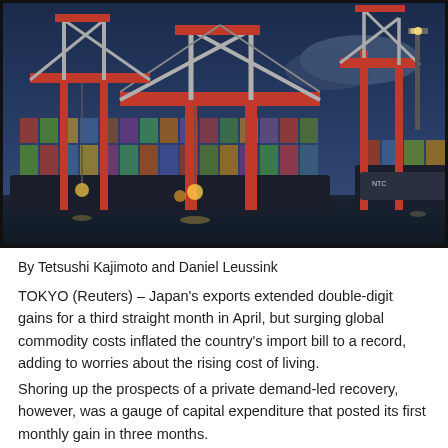[Figure (photo): A twilight/dusk photograph of a container port with large red and white industrial cranes towering above a cargo ship loaded with shipping containers. Bright lights illuminate the scene against a dark blue sky.]
By Tetsushi Kajimoto and Daniel Leussink
TOKYO (Reuters) – Japan's exports extended double-digit gains for a third straight month in April, but surging global commodity costs inflated the country's import bill to a record, adding to worries about the rising cost of living.
Shoring up the prospects of a private demand-led recovery, however, was a gauge of capital expenditure that posted its first monthly gain in three months.